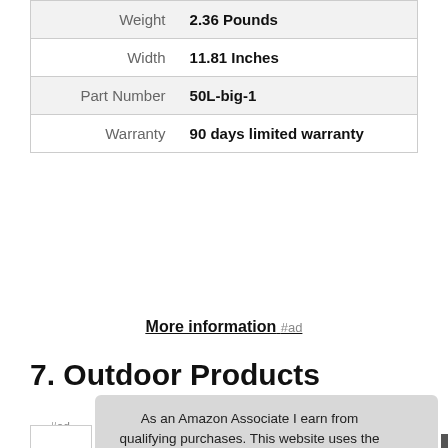| Weight | 2.36 Pounds |
| Width | 11.81 Inches |
| Part Number | 50L-big-1 |
| Warranty | 90 days limited warranty |
More information #ad
7. Outdoor Products
As an Amazon Associate I earn from qualifying purchases. This website uses the only necessary cookies to ensure you get the best experience on our website. More information